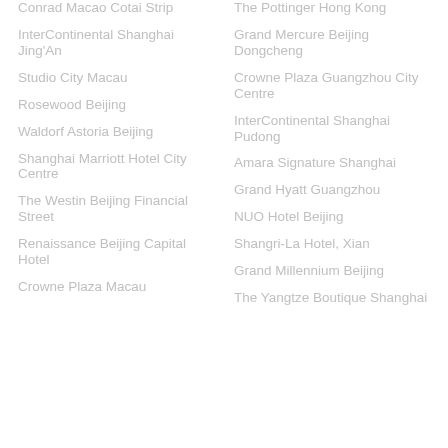Conrad Macao Cotai Strip
The Pottinger Hong Kong
InterContinental Shanghai Jing'An
Grand Mercure Beijing Dongcheng
Studio City Macau
Crowne Plaza Guangzhou City Centre
Rosewood Beijing
InterContinental Shanghai Pudong
Waldorf Astoria Beijing
Amara Signature Shanghai
Shanghai Marriott Hotel City Centre
Grand Hyatt Guangzhou
The Westin Beijing Financial Street
NUO Hotel Beijing
Renaissance Beijing Capital Hotel
Shangri-La Hotel, Xian
Crowne Plaza Macau
Grand Millennium Beijing
The Yangtze Boutique Shanghai